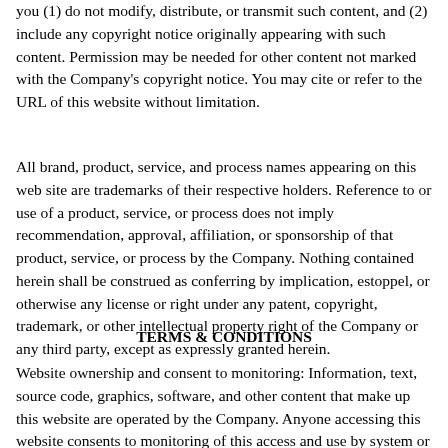you (1) do not modify, distribute, or transmit such content, and (2) include any copyright notice originally appearing with such content. Permission may be needed for other content not marked with the Company's copyright notice. You may cite or refer to the URL of this website without limitation.
All brand, product, service, and process names appearing on this web site are trademarks of their respective holders. Reference to or use of a product, service, or process does not imply recommendation, approval, affiliation, or sponsorship of that product, service, or process by the Company. Nothing contained herein shall be construed as conferring by implication, estoppel, or otherwise any license or right under any patent, copyright, trademark, or other intellectual property right of the Company or any third party, except as expressly granted herein.
TERMS & CONDITIONS
Website ownership and consent to monitoring: Information, text, source code, graphics, software, and other content that make up this website are operated by the Company. Anyone accessing this website consents to monitoring of this access and use by system or security personnel.